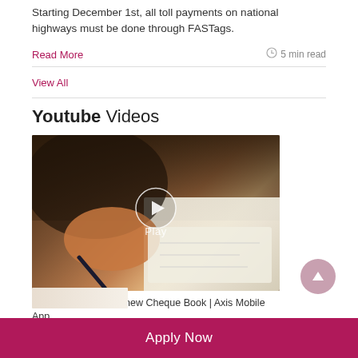Starting December 1st, all toll payments on national highways must be done through FASTags.
Read More
5 min read
View All
Youtube Videos
[Figure (screenshot): Video thumbnail showing a person writing a cheque with a pen, with a circular play button overlay and 'Play' text]
How to request for a new Cheque Book | Axis Mobile App
Apply Now